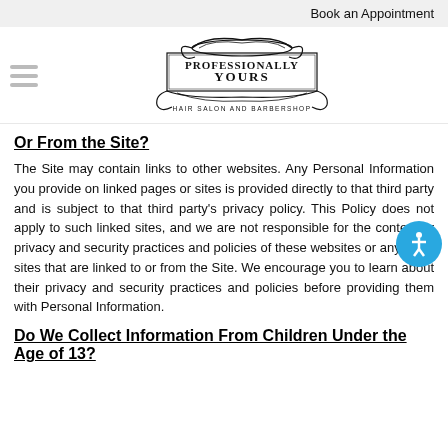Book an Appointment
[Figure (logo): Professionally Yours Hair Salon and Barbershop logo with decorative swirl border]
Or From the Site?
The Site may contain links to other websites. Any Personal Information you provide on linked pages or sites is provided directly to that third party and is subject to that third party's privacy policy. This Policy does not apply to such linked sites, and we are not responsible for the content or privacy and security practices and policies of these websites or any other sites that are linked to or from the Site. We encourage you to learn about their privacy and security practices and policies before providing them with Personal Information.
Do We Collect Information From Children Under the Age of 13?